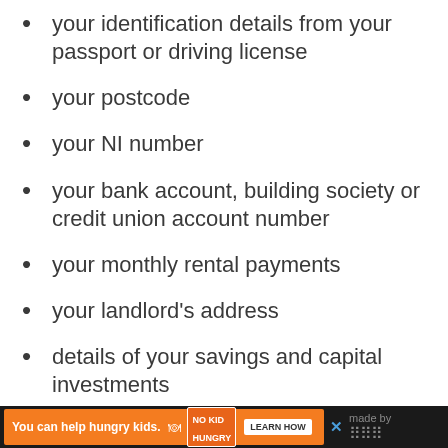your identification details from your passport or driving license
your postcode
your NI number
your bank account, building society or credit union account number
your monthly rental payments
your landlord's address
details of your savings and capital investments
details of your income and benefits
You can help hungry kids. NO KID HUNGRY LEARN HOW  made by